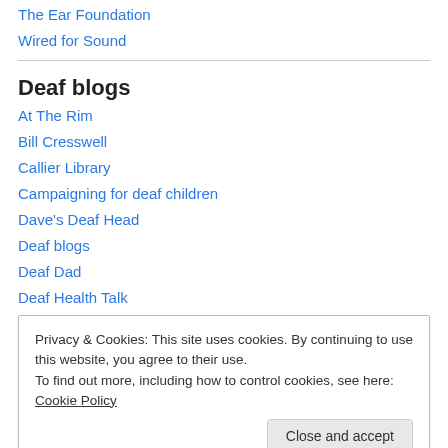The Ear Foundation
Wired for Sound
Deaf blogs
At The Rim
Bill Cresswell
Callier Library
Campaigning for deaf children
Dave's Deaf Head
Deaf blogs
Deaf Dad
Deaf Health Talk
Hard of Hearing
Privacy & Cookies: This site uses cookies. By continuing to use this website, you agree to their use.
To find out more, including how to control cookies, see here: Cookie Policy